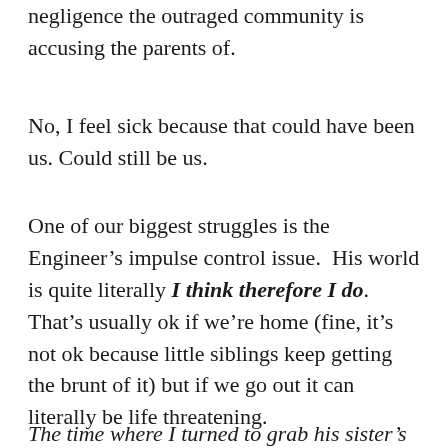negligence the outraged community is accusing the parents of.
No, I feel sick because that could have been us. Could still be us.
One of our biggest struggles is the Engineer’s impulse control issue.  His world is quite literally I think therefore I do.  That’s usually ok if we’re home (fine, it’s not ok because little siblings keep getting the brunt of it) but if we go out it can literally be life threatening.
The time where I turned to grab his sister’s hand